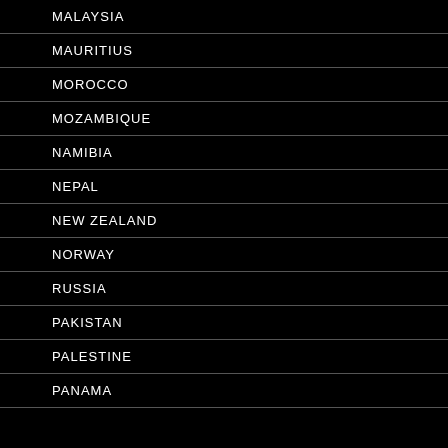MALAYSIA
MAURITIUS
MOROCCO
MOZAMBIQUE
NAMIBIA
NEPAL
NEW ZEALAND
NORWAY
RUSSIA
PAKISTAN
PALESTINE
PANAMA